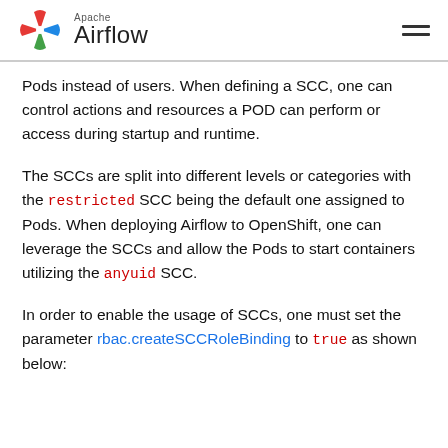Apache Airflow
Pods instead of users. When defining a SCC, one can control actions and resources a POD can perform or access during startup and runtime.
The SCCs are split into different levels or categories with the restricted SCC being the default one assigned to Pods. When deploying Airflow to OpenShift, one can leverage the SCCs and allow the Pods to start containers utilizing the anyuid SCC.
In order to enable the usage of SCCs, one must set the parameter rbac.createSCCRoleBinding to true as shown below: